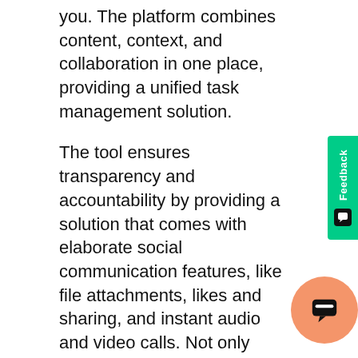you. The platform combines content, context, and collaboration in one place, providing a unified task management solution.
The tool ensures transparency and accountability by providing a solution that comes with elaborate social communication features, like file attachments, likes and sharing, and instant audio and video calls. Not only this, but you can also create workflows by adding if-this-then-that logic and streamline your processes effectively.
Key Features:
Personal dashboards for monitoring progress in a
Task management, with integrated workflows
Private and public workspaces for multip... projects
Recurring tasks for tasks repeating on a